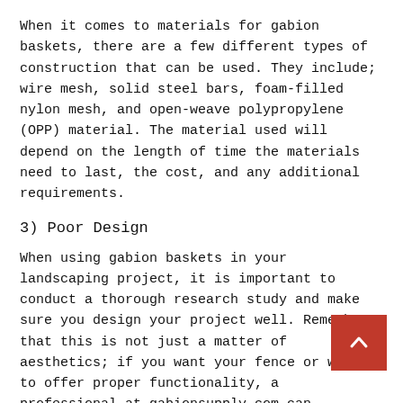When it comes to materials for gabion baskets, there are a few different types of construction that can be used. They include; wire mesh, solid steel bars, foam-filled nylon mesh, and open-weave polypropylene (OPP) material. The material used will depend on the length of time the materials need to last, the cost, and any additional requirements.
3) Poor Design
When using gabion baskets in your landscaping project, it is important to conduct a thorough research study and make sure you design your project well. Remember that this is not just a matter of aesthetics; if you want your fence or wall to offer proper functionality, a professional at gabionsupply.com can properly design it.
To get the most out of your gabion basket, you will want to consider a few things for your design: design complexity, access, aesthetics, and maintenance.